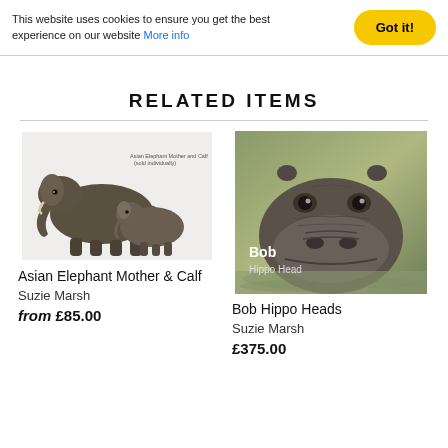This website uses cookies to ensure you get the best experience on our website More info
Got it!
RELATED ITEMS
[Figure (photo): Asian Elephant Mother and Calf bronze sculpture figurines on white background with small label text 'Asian Elephant Mother and Calf (sold individually)']
Asian Elephant Mother & Calf
Suzie Marsh
from £85.00
[Figure (photo): Bob Hippo Head bronze sculpture partially submerged in water, with text overlay 'Bob Hippo Head']
Bob Hippo Heads
Suzie Marsh
£375.00